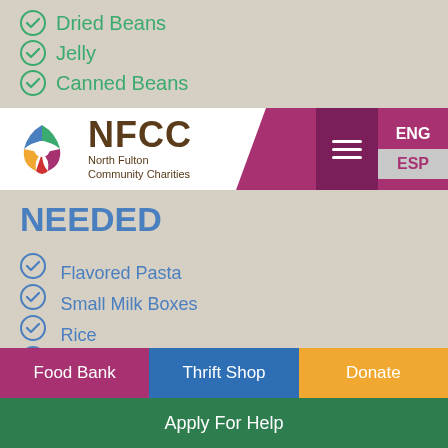Dried Beans
Jelly
Canned Beans
[Figure (logo): NFCC North Fulton Community Charities logo with colorful hands and navigation bar with ENG/ESP language options]
NEEDED
Flavored Pasta
Small Milk Boxes
Rice
Hamburger Helper Meals
Ramen
Juices
Mac n Cheese (Cups Only)
Cereal
Food Bank | Thrift Shop | Donate | Apply For Help